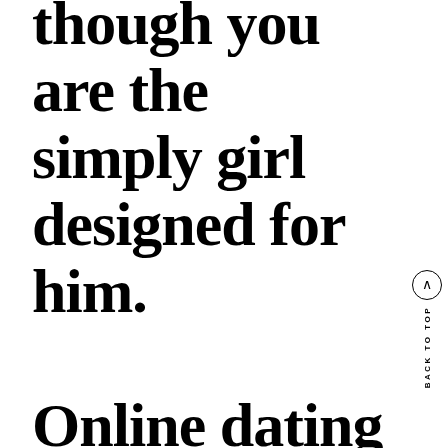though you are the simply girl designed for him. Online dating services are made just for...
BACK TO TOP